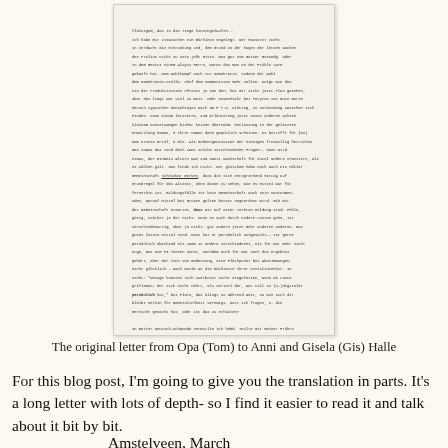[Figure (photo): Scanned handwritten letter in German, faded black ink on yellowed paper, with a signature at the bottom reading 'Mit herzlichen Gruss, Tom']
The original letter from Opa (Tom) to Anni and Gisela (Gis) Halle
For this blog post, I'm going to give you the translation in parts. It's a long letter with lots of depth- so I find it easier to read it and talk about it bit by bit.
Amstelveen, March